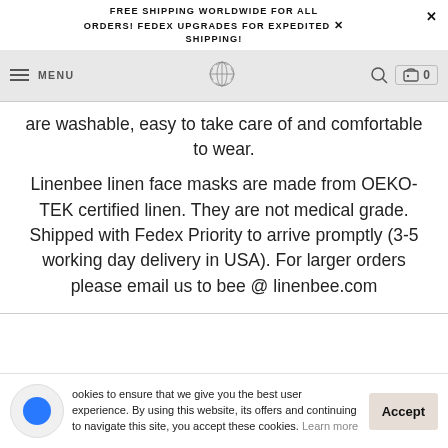FREE SHIPPING WORLDWIDE FOR ALL ORDERS! FEDEX UPGRADES FOR EXPEDITED SHIPPING!
MENU [logo] [search] [cart] 0
are washable, easy to take care of and comfortable to wear.
Linenbee linen face masks are made from OEKO-TEK certified linen. They are not medical grade. Shipped with Fedex Priority to arrive promptly (3-5 working day delivery in USA). For larger orders please email us to bee @ linenbee.com
cookies to ensure that we give you the best user experience. By using this website, its offers and continuing to navigate this site, you accept these cookies. Learn more